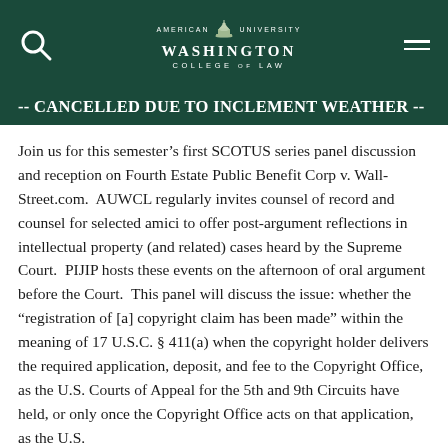American University Washington College of Law
-- CANCELLED DUE TO INCLEMENT WEATHER --
Join us for this semester's first SCOTUS series panel discussion and reception on Fourth Estate Public Benefit Corp v. Wall-Street.com.  AUWCL regularly invites counsel of record and counsel for selected amici to offer post-argument reflections in intellectual property (and related) cases heard by the Supreme Court.  PIJIP hosts these events on the afternoon of oral argument before the Court.  This panel will discuss the issue: whether the “registration of [a] copyright claim has been made” within the meaning of 17 U.S.C. § 411(a) when the copyright holder delivers the required application, deposit, and fee to the Copyright Office, as the U.S. Courts of Appeal for the 5th and 9th Circuits have held, or only once the Copyright Office acts on that application, as the U.S.